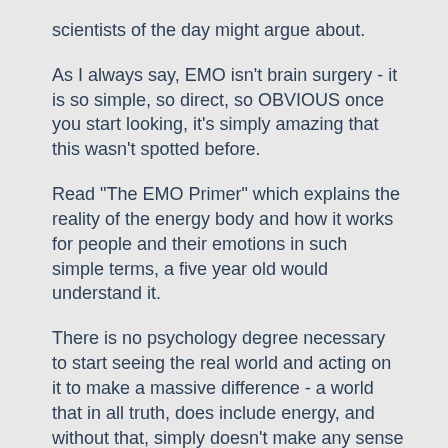scientists of the day might argue about.
As I always say, EMO isn't brain surgery - it is so simple, so direct, so OBVIOUS once you start looking, it's simply amazing that this wasn't spotted before.
Read "The EMO Primer" which explains the reality of the energy body and how it works for people and their emotions in such simple terms, a five year old would understand it.
There is no psychology degree necessary to start seeing the real world and acting on it to make a massive difference - a world that in all truth, does include energy, and without that, simply doesn't make any sense at all.
Silvia Hartmann
December 2008